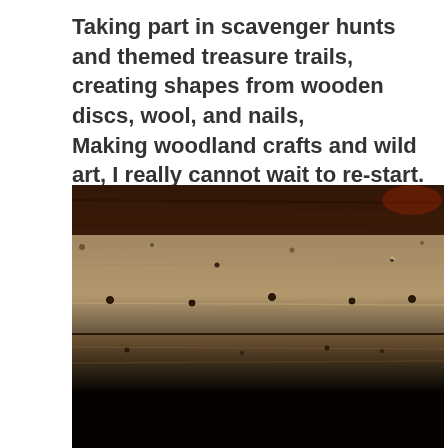Taking part in scavenger hunts and themed treasure trails, creating shapes from wooden discs, wool, and nails,
Making woodland crafts and wild art, I really cannot wait to re-start.
[Figure (photo): A dark, close-up photograph of wooden planks or timber with nails, lit dimly showing the grain and texture of the wood. The upper portion shows reddish-brown wood, the middle shows a lighter tan plank with small nail holes, and the bottom is very dark/black.]